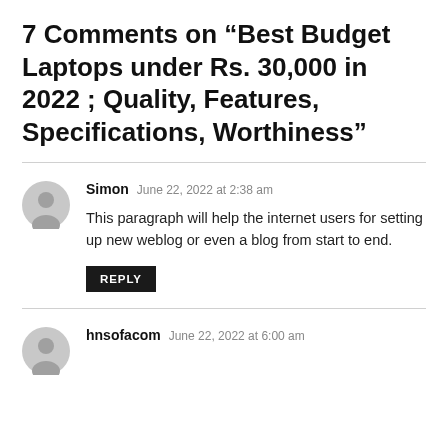7 Comments on “Best Budget Laptops under Rs. 30,000 in 2022 ; Quality, Features, Specifications, Worthiness”
Simon   June 22, 2022 at 2:38 am
This paragraph will help the internet users for setting up new weblog or even a blog from start to end.
REPLY
hnsofacom   June 22, 2022 at 6:00 am